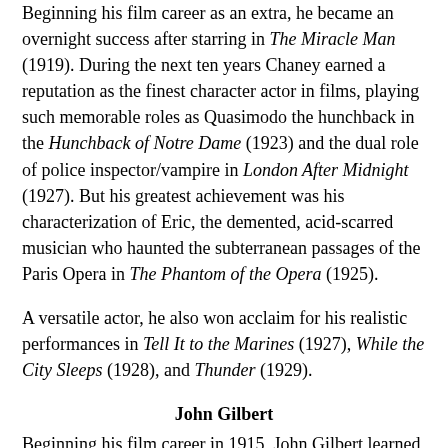Beginning his film career as an extra, he became an overnight success after starring in The Miracle Man (1919). During the next ten years Chaney earned a reputation as the finest character actor in films, playing such memorable roles as Quasimodo the hunchback in the Hunchback of Notre Dame (1923) and the dual role of police inspector/vampire in London After Midnight (1927). But his greatest achievement was his characterization of Eric, the demented, acid-scarred musician who haunted the subterranean passages of the Paris Opera in The Phantom of the Opera (1925).
A versatile actor, he also won acclaim for his realistic performances in Tell It to the Marines (1927), While the City Sleeps (1928), and Thunder (1929).
John Gilbert
Beginning his film career in 1915, John Gilbert learned everything there was to know about the movies - building sets, lighting, hand-tinting film, writing scripts, and directing - before he became an actor. In 1924 he joined the...